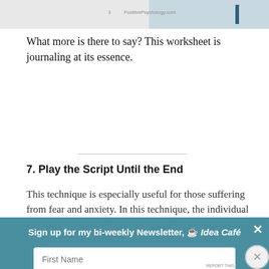[Figure (photo): Partial view of a worksheet/document image at the top of the page, with a teal/blue graphic element on the right side.]
What more is there to say? This worksheet is journaling at its essence.
7. Play the Script Until the End
This technique is especially useful for those suffering from fear and anxiety. In this technique, the individual who is vulnerable to crippling
Sign up for my bi-weekly Newsletter, ☕ Idea Café
First Name
Email Address
Advertisements
[Figure (illustration): Pocket Casts advertisement banner: red background with 'An app by listeners, for listeners.' text and Pocket Casts logo on the right.]